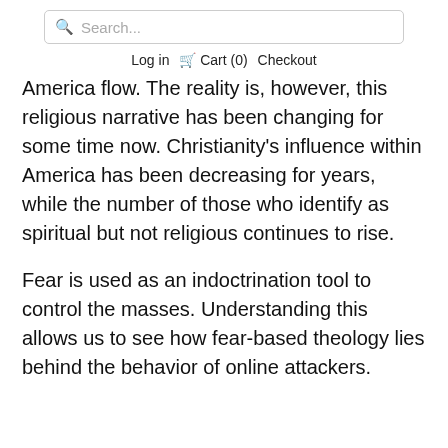Search...  Log in  Cart (0)  Checkout
America flow. The reality is, however, this religious narrative has been changing for some time now. Christianity's influence within America has been decreasing for years, while the number of those who identify as spiritual but not religious continues to rise.
Fear is used as an indoctrination tool to control the masses. Understanding this allows us to see how fear-based theology lies behind the behavior of online attackers.